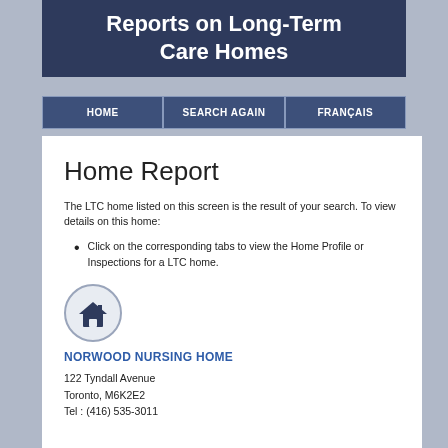Reports on Long-Term Care Homes
HOME | SEARCH AGAIN | FRANÇAIS
Home Report
The LTC home listed on this screen is the result of your search. To view details on this home:
Click on the corresponding tabs to view the Home Profile or Inspections for a LTC home.
[Figure (illustration): House icon inside a grey circle — representing a long-term care home]
NORWOOD NURSING HOME
122 Tyndall Avenue
Toronto, M6K2E2
Tel : (416) 535-3011